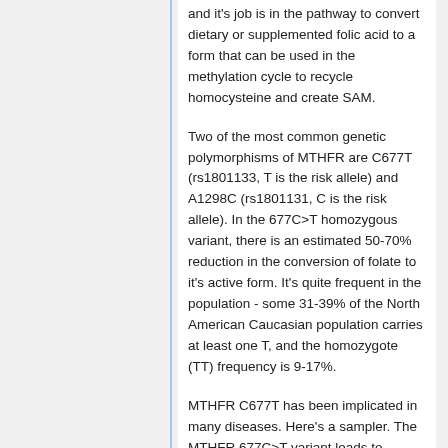and it's job is in the pathway to convert dietary or supplemented folic acid to a form that can be used in the methylation cycle to recycle homocysteine and create SAM.
Two of the most common genetic polymorphisms of MTHFR are C677T (rs1801133, T is the risk allele) and A1298C (rs1801131, C is the risk allele). In the 677C>T homozygous variant, there is an estimated 50-70% reduction in the conversion of folate to it's active form. It's quite frequent in the population - some 31-39% of the North American Caucasian population carries at least one T, and the homozygote (TT) frequency is 9-17%.
MTHFR C677T has been implicated in many diseases. Here's a sampler. The MTHFR 677C>T variant leads to